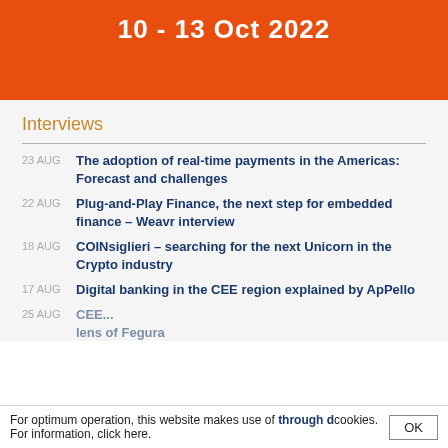10 - 13 Oct 2022
Interviews
23 AUG — The adoption of real-time payments in the Americas: Forecast and challenges
22 AUG — Plug-and-Play Finance, the next step for embedded finance – Weavr interview
18 AUG — COINsiglieri – searching for the next Unicorn in the Crypto industry
17 AUG — Digital banking in the CEE region explained by ApPello
25 AUG — ... through the lens of Fegura
For optimum operation, this website makes use of cookies. For information, click here.